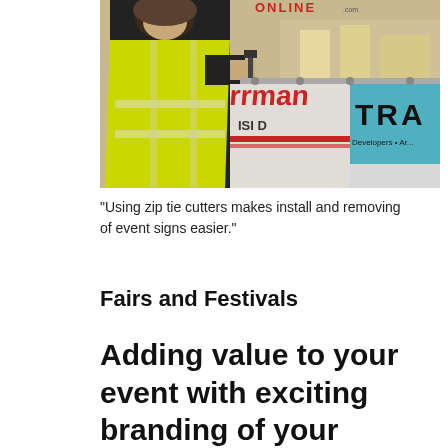[Figure (photo): Person wearing a yellow high-visibility vest using zip tie cutters to install banners/signs on a metal fence rail. Banners visible in background with red text and teal/blue branding panel reading 'TRA' and 'Developers • Ar...']
"Using zip tie cutters makes install and removing of event signs easier."
Fairs and Festivals
Adding value to your event with exciting branding of your facility perimeter